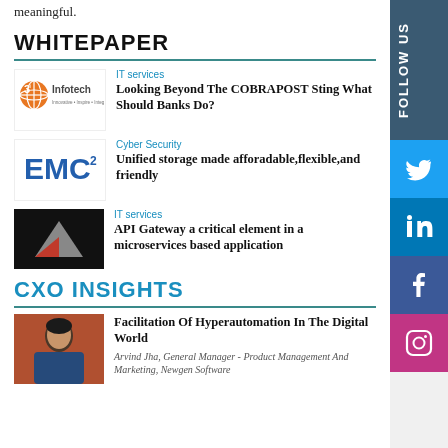meaningful.
WHITEPAPER
[Figure (logo): 3i Infotech logo - orange globe with company name]
IT services
Looking Beyond The COBRAPOST Sting What Should Banks Do?
[Figure (logo): EMC squared logo in blue]
Cyber Security
Unified storage made afforadable,flexible,and friendly
[Figure (logo): Dark background with red and grey arrow/triangle logo]
IT services
API Gateway a critical element in a microservices based application
CXO INSIGHTS
[Figure (photo): Person in blue top, professional headshot photo]
Facilitation Of Hyperautomation In The Digital World
Arvind Jha, General Manager - Product Management And Marketing, Newgen Software